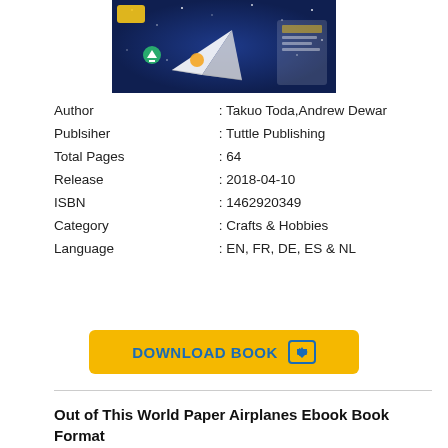[Figure (photo): Book cover of Out of This World Paper Airplanes, showing paper airplane designs on a dark blue background with stars]
| Author | : Takuo Toda,Andrew Dewar |
| Publsiher | : Tuttle Publishing |
| Total Pages | : 64 |
| Release | : 2018-04-10 |
| ISBN | : 1462920349 |
| Category | : Crafts & Hobbies |
| Language | : EN, FR, DE, ES & NL |
DOWNLOAD BOOK
Out of This World Paper Airplanes Ebook Book Format